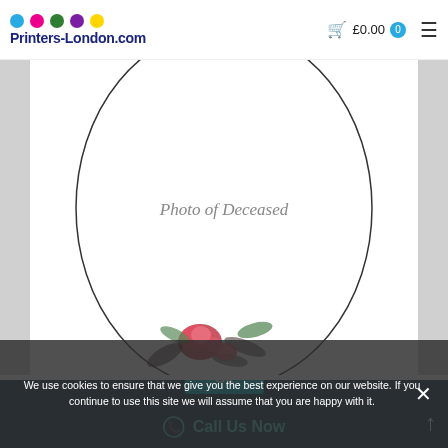Printers-London.com | £0.00 0
[Figure (illustration): Oval portrait placeholder frame with text 'Photo of Deceased' and floral decoration (pink roses and dark leaves) at the bottom of the oval on a white background with dark grey side borders]
We use cookies to ensure that we give you the best experience on our website. If you continue to use this site we will assume that you are happy with it.
Ok | Call Us Now